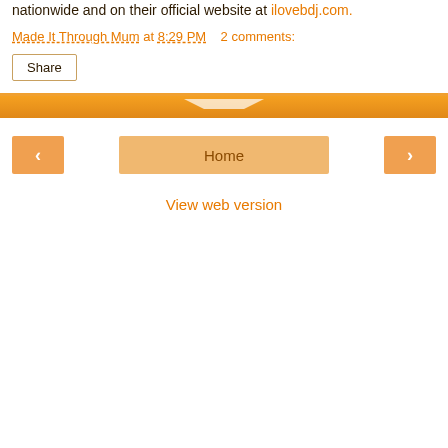nationwide and on their official website at ilovebdj.com.
Made It Through Mum at 8:29 PM    2 comments:
Share
Home
View web version